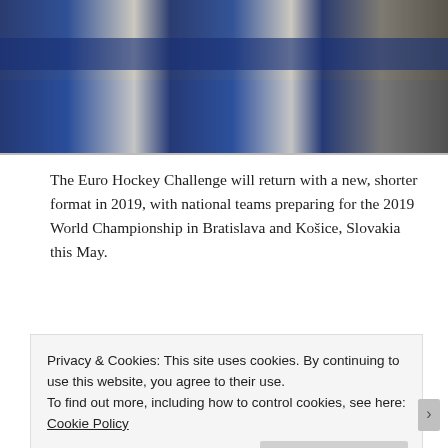[Figure (photo): Photo of Finnish flags being waved, blue and white, with people in hockey jerseys in the background]
The Euro Hockey Challenge will return with a new, shorter format in 2019, with national teams preparing for the 2019 World Championship in Bratislava and Košice, Slovakia this May.
Continue reading →
Posted in Euro Hockey Challenge, Euro Hockey Tour, IHLC News •
Tagged Austria, Bratislava, Carlson Hockey Games, Czechia, Denmark, Euro Hockey Challenge, Euro Hockey Tour, Finland,
Privacy & Cookies: This site uses cookies. By continuing to use this website, you agree to their use.
To find out more, including how to control cookies, see here: Cookie Policy